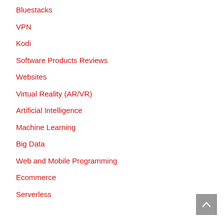Bluestacks
VPN
Kodi
Software Products Reviews
Websites
Virtual Reality (AR/VR)
Artificial Intelligence
Machine Learning
Big Data
Web and Mobile Programming
Ecommerce
Serverless